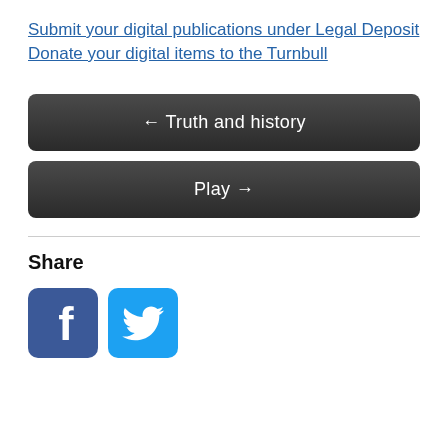Submit your digital publications under Legal Deposit
Donate your digital items to the Turnbull
[Figure (other): Dark navigation button with left arrow: ← Truth and history]
[Figure (other): Dark navigation button with right arrow: Play →]
Share
[Figure (other): Facebook and Twitter social share icon buttons]